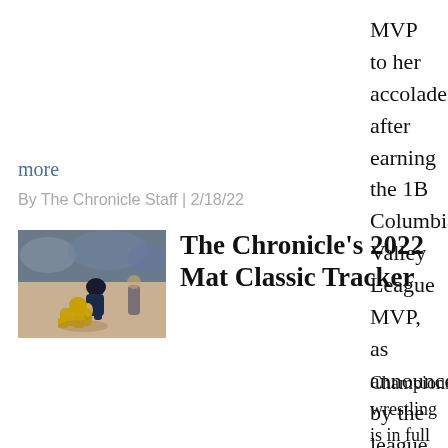MVP to her accolades after earning the 1B Columbia Valley League MVP, as announced by the league Friday. Vikings' coach Autumn …
more
By The Chronicle Staff | 2/18/22
[Figure (photo): Two wrestlers competing on a mat, one appearing to take down the other, with spectators visible in the background]
The Chronicle's 2022 Mat Classic Tracker
Championship wrestling is in full swing, and as matchups on the mat get set to get underway at the Tacoma Dome this weekend, follow along for results as